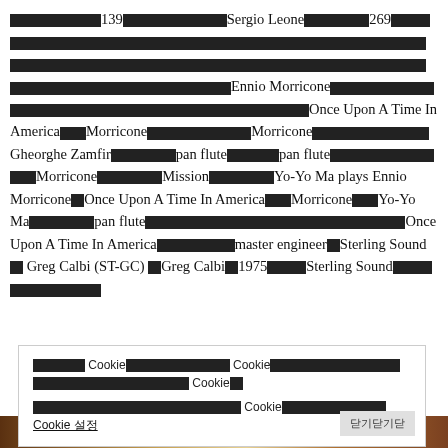███████139████████Sergio Leone█████269████████████████████████████████████████████████████████████████████████████Ennio Morricone████████████████████████Once Upon A Time In America██Morricone████████Morricone████████Gheorghe Zamfir█████pan flute████pan flute████████████Morricone█████Mission██████Yo-Yo Ma plays Ennio Morricone█Once Upon A Time In America██Morricone██Yo-Yo Ma█████pan flute███████████████████████████Once Upon A Time In America████████master engineer█Sterling Sound█ Greg Calbi (ST-GC) █Greg Calbi█1975████Sterling Sound█████████████
████ Cookie████████ Cookie████████████████Cookie█ ████████████████ Cookie████████ Cookie 설정
[Figure (photo): Bottom strip showing album or book covers, partially visible]